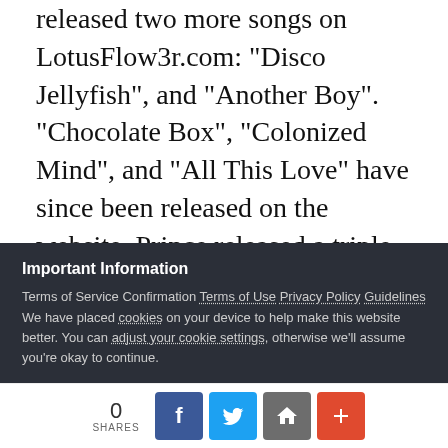released two more songs on LotusFlow3r.com: "Disco Jellyfish", and "Another Boy". "Chocolate Box", "Colonized Mind", and "All This Love" have since been released on the website. Prince released a triple album set containing LOtUSFLOW3R, MPLSoUND, and an album credited to his new protégé, Bria Valente, called Elixer, on March 24, 2009, followed by a physical release on March 29. The release was preceded by performances on The Tonight Show with Jay Leno and The Ellen DeGeneres Show. It was released in other countries digitally, with official physical release date...
Important Information
Terms of Service Confirmation Terms of Use Privacy Policy Guidelines We have placed cookies on your device to help make this website better. You can adjust your cookie settings, otherwise we'll assume you're okay to continue.
0 SHARES